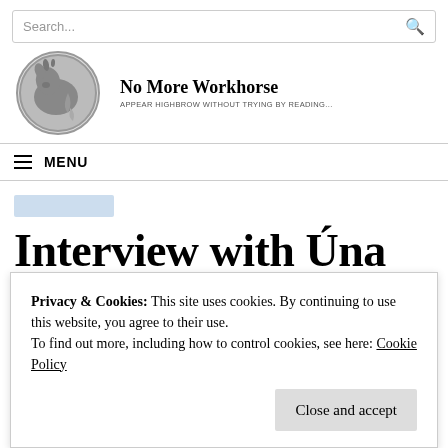Search...
No More Workhorse
APPEAR HIGHBROW WITHOUT TRYING BY READING...
MENU
Interview with Úna Molloy – Event Vicar Street
Privacy & Cookies: This site uses cookies. By continuing to use this website, you agree to their use. To find out more, including how to control cookies, see here: Cookie Policy